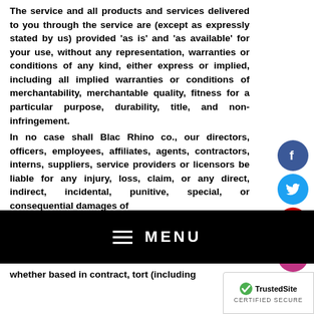The service and all products and services delivered to you through the service are (except as expressly stated by us) provided 'as is' and 'as available' for your use, without any representation, warranties or conditions of any kind, either express or implied, including all implied warranties or conditions of merchantability, merchantable quality, fitness for a particular purpose, durability, title, and non-infringement.
In no case shall Blac Rhino co., our directors, officers, employees, affiliates, agents, contractors, interns, suppliers, service providers or licensors be liable for any injury, loss, claim, or any direct, indirect, incidental, punitive, special, or consequential damages of
[Figure (other): Social media icons: Facebook (blue circle), Twitter (light blue circle), YouTube (red circle with 'You Tube'), Instagram (pink/purple circle)]
[Figure (other): Black menu bar with hamburger icon and MENU text in white]
whether based in contract, tort (including
[Figure (logo): TrustedSite CERTIFIED SECURE badge with green checkmark]